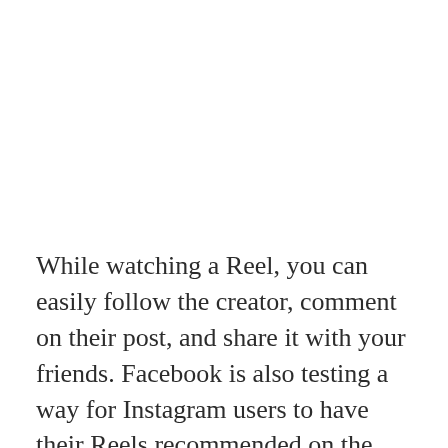While watching a Reel, you can easily follow the creator, comment on their post, and share it with your friends. Facebook is also testing a way for Instagram users to have their Reels recommended on the main Facebook app. This hints that the Reels feature may be fully integrated between the two apps in the future.